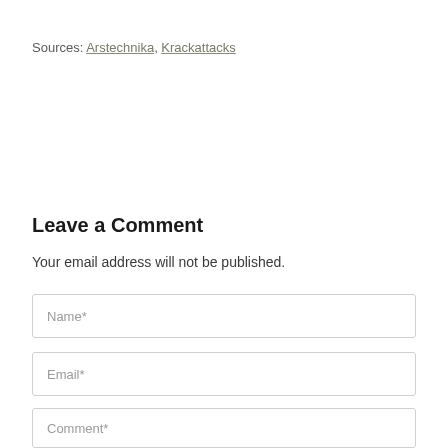Sources: Arstechnika, Krackattacks
Leave a Comment
Your email address will not be published.
Name*
Email*
Comment*